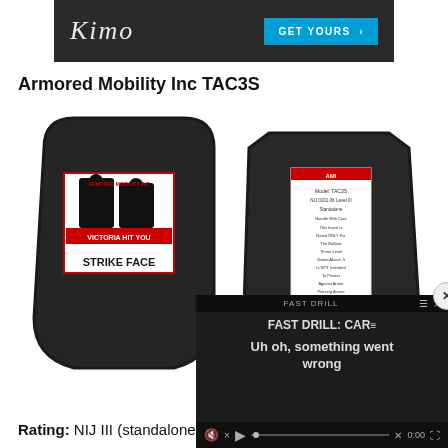[Figure (illustration): Advertisement banner with dark background, cursive logo text and teal GET YOURS button]
Armored Mobility Inc TAC3S
[Figure (photo): Two black ballistic armor plates shown front and back. Front plate has a label reading STRIKE FACE with a tactical figure graphic. Back plate shows a white product specification label.]
[Figure (screenshot): Embedded video player overlay showing FAST DRILL: CAR= with error message 'Uh oh, something went wrong' and video controls at bottom. Has a close X button.]
Rating: NIJ III (standalone